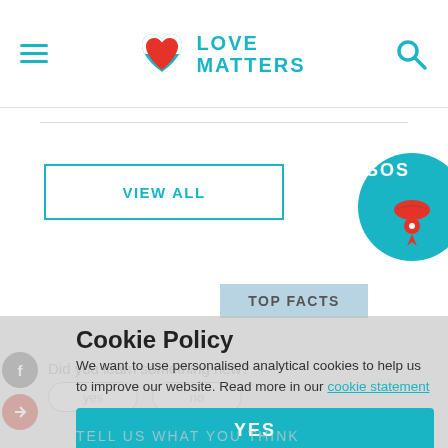LOVE MATTERS
VIEW ALL
[Figure (illustration): SOS circle logo partially visible on right edge with lips icon and map pin]
TOP FACTS
Cookie Policy
We want to use personalised analytical cookies to help us to improve our website. Read more in our cookie statement
YES
Did you learn something new?
TELL US WHAT YOU THINK